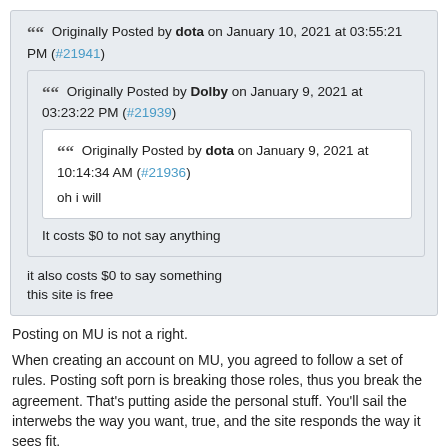" Originally Posted by dota on January 10, 2021 at 03:55:21 PM (#21941)
" Originally Posted by Dolby on January 9, 2021 at 03:23:22 PM (#21939)
" Originally Posted by dota on January 9, 2021 at 10:14:34 AM (#21936)

oh i will
It costs $0 to not say anything
it also costs $0 to say something
this site is free
Posting on MU is not a right.
When creating an account on MU, you agreed to follow a set of rules. Posting soft porn is breaking those roles, thus you break the agreement. That's putting aside the personal stuff. You'll sail the interwebs the way you want, true, and the site responds the way it sees fit.